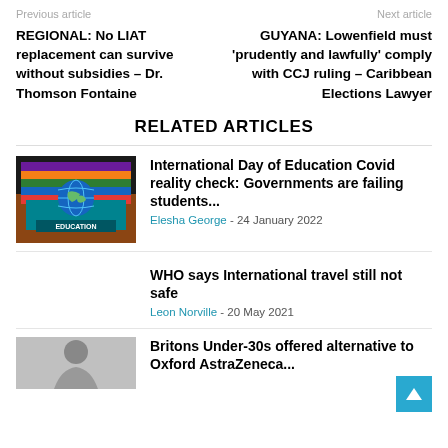Previous article
Next article
REGIONAL: No LIAT replacement can survive without subsidies – Dr. Thomson Fontaine
GUYANA: Lowenfield must 'prudently and lawfully' comply with CCJ ruling – Caribbean Elections Lawyer
RELATED ARTICLES
[Figure (photo): Books stacked with a globe on top, labeled EDUCATION]
International Day of Education Covid reality check: Governments are failing students...
Elesha George - 24 January 2022
WHO says International travel still not safe
Leon Norville - 20 May 2021
[Figure (photo): Person photo for Britons Under-30s article]
Britons Under-30s offered alternative to Oxford AstraZeneca...